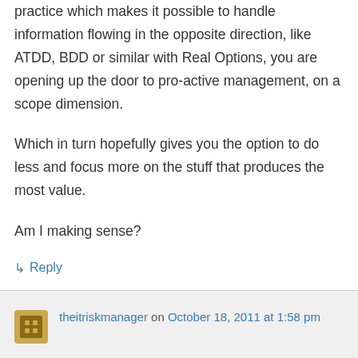practice which makes it possible to handle information flowing in the opposite direction, like ATDD, BDD or similar with Real Options, you are opening up the door to pro-active management, on a scope dimension.
Which in turn hopefully gives you the option to do less and focus more on the stuff that produces the most value.
Am I making sense?
↳ Reply
theitriskmanager on October 18, 2011 at 1:58 pm